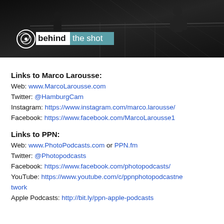[Figure (photo): Dark banner image with silhouettes of people on a walkway/bridge structure, featuring the 'behind the shot' logo with a circular camera icon on the left, 'behind' in white on dark background and 'the shot' in white on teal/blue-green background.]
Links to Marco Larousse:
Web: www.MarcoLarousse.com
Twitter: @HamburgCam
Instagram: https://www.instagram.com/marco.larousse/
Facebook: https://www.facebook.com/MarcoLarousse1
Links to PPN:
Web: www.PhotoPodcasts.com or PPN.fm
Twitter: @Photopodcasts
Facebook: https://www.facebook.com/photopodcasts/
YouTube: https://www.youtube.com/c/ppnphotopodcastnetwork
Apple Podcasts: http://bit.ly/ppn-apple-podcasts